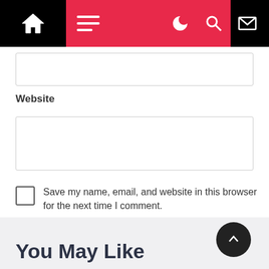[Figure (screenshot): Website navigation bar with black left section containing a house/home icon, red center section with hamburger menu lines, and black right section with moon, search, and envelope icons]
Website
[Figure (screenshot): Empty text input box for Website field]
Save my name, email, and website in this browser for the next time I comment.
Post Comment
You May Like